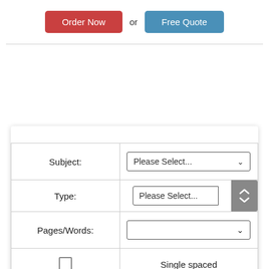[Figure (screenshot): Two buttons: 'Order Now' (red) and 'Free Quote' (blue) with 'or' text between them]
| Label | Input |
| --- | --- |
| Subject: | Please Select... |
| Type: | Please Select... |
| Pages/Words: |  |
| □ | Single spaced |
|  | approx 275 words per |